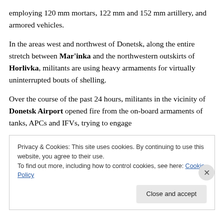employing 120 mm mortars, 122 mm and 152 mm artillery, and armored vehicles.
In the areas west and northwest of Donetsk, along the entire stretch between Mar'inka and the northwestern outskirts of Horlivka, militants are using heavy armaments for virtually uninterrupted bouts of shelling.
Over the course of the past 24 hours, militants in the vicinity of Donetsk Airport opened fire from the on-board armaments of tanks, APCs and IFVs, trying to engage
Privacy & Cookies: This site uses cookies. By continuing to use this website, you agree to their use.
To find out more, including how to control cookies, see here: Cookie Policy
Close and accept